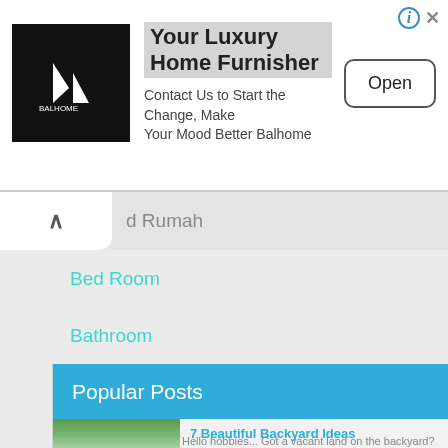[Figure (screenshot): Advertisement banner for Balhome luxury home furnisher with logo, text, and Open button]
d Rumah
Bed Room
Bathroom
Aksesoris Pintu Rumah
Gorden
Popular Posts
7 Beautiful Backyard Ideas
Hello hobbies... Got a vacant land on the backyard?